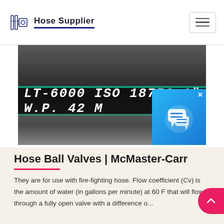Hose Supplier
[Figure (photo): Close-up photo of a dark industrial hose with white text marking: LT-6000 ISO 18752 1' W.P. 42 M, with green stripe bands and a chat popup overlay in the corner]
Hose Ball Valves | McMaster-Carr
They are for use with fire-fighting hose. Flow coefficient (Cv) is the amount of water (in gallons per minute) at 60 F that will flow through a fully open valve with a difference o...